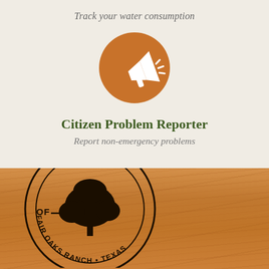Track your water consumption
[Figure (illustration): Orange circle with white megaphone/bullhorn icon with sound lines]
Citizen Problem Reporter
Report non-emergency problems
[Figure (logo): City of Fair Oaks Ranch Texas official seal/logo on wood grain background]